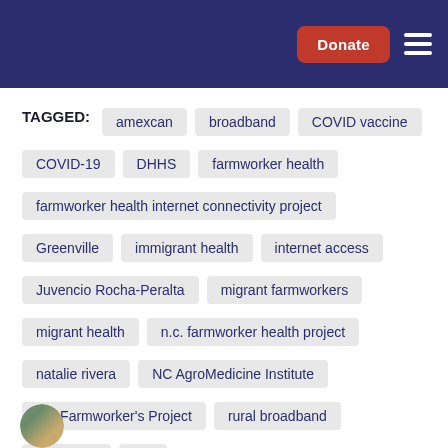Donate [button] [hamburger menu]
TAGGED: amexcan broadband COVID vaccine COVID-19 DHHS farmworker health farmworker health internet connectivity project Greenville immigrant health internet access Juvencio Rocha-Peralta migrant farmworkers migrant health n.c. farmworker health project natalie rivera NC AgroMedicine Institute NC Farmworker's Project rural broadband telehealth wifi